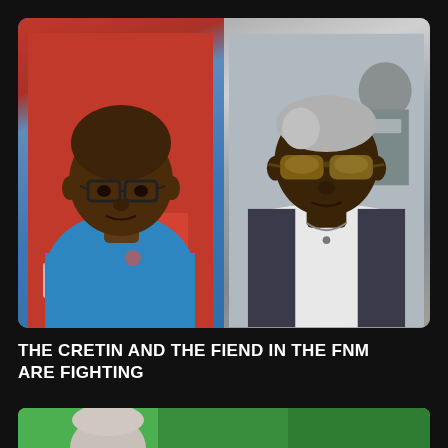[Figure (photo): Two men side by side. Left: a heavyset man wearing glasses and a blue polo shirt, seated in front of a red background. Right: a man wearing large tinted sunglasses and a white shirt, outdoors.]
THE CRETIN AND THE FIEND IN THE FNM ARE FIGHTING
[Figure (photo): Partial view of a person in front of a green background, cropped at bottom of page.]